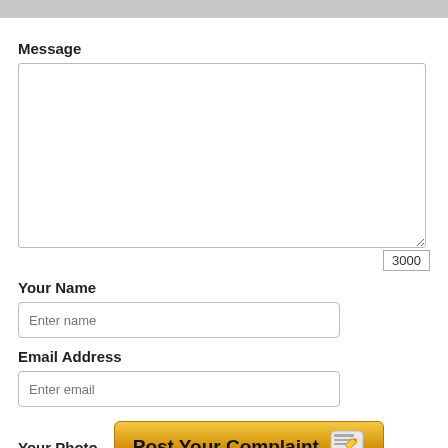Message
3000
Your Name
Enter name
Email Address
Enter email
Your Photo
[Figure (screenshot): Post Your Complaint button with pencil icon, golden gradient background]